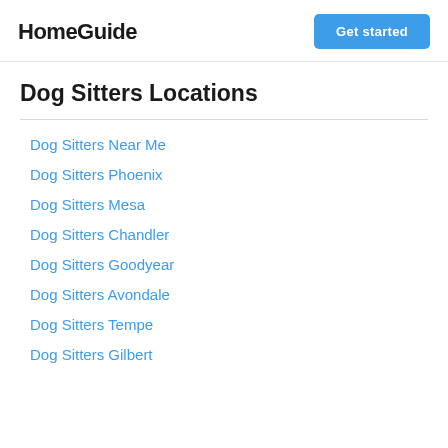HomeGuide | Get started
Dog Sitters Locations
Dog Sitters Near Me
Dog Sitters Phoenix
Dog Sitters Mesa
Dog Sitters Chandler
Dog Sitters Goodyear
Dog Sitters Avondale
Dog Sitters Tempe
Dog Sitters Gilbert